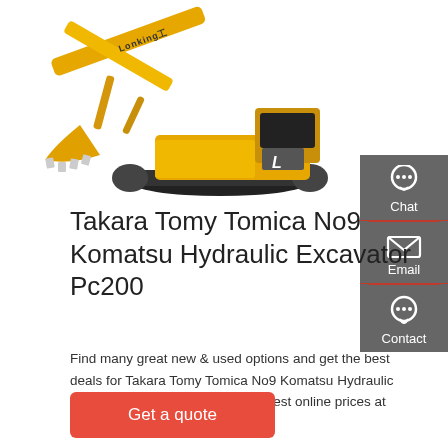[Figure (photo): Yellow Lonking hydraulic excavator (construction machine) on white background, showing the arm, bucket, cab, and tracks]
Takara Tomy Tomica No9 Komatsu Hydraulic Excavator Pc200
Find many great new & used options and get the best deals for Takara Tomy Tomica No9 Komatsu Hydraulic Excavator Pc200-10 Type at the best online prices at eBay!
[Figure (infographic): Dark grey sidebar with three contact icons and labels: Chat (headset icon), Email (envelope icon), Contact (speech bubble icon). Each section separated by a red line.]
Get a quote